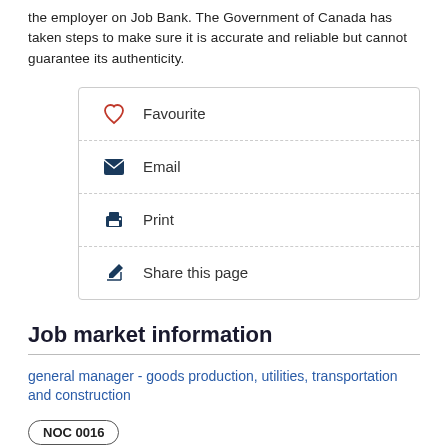the employer on Job Bank. The Government of Canada has taken steps to make sure it is accurate and reliable but cannot guarantee its authenticity.
Favourite
Email
Print
Share this page
Job market information
general manager - goods production, utilities, transportation and construction
NOC 0016